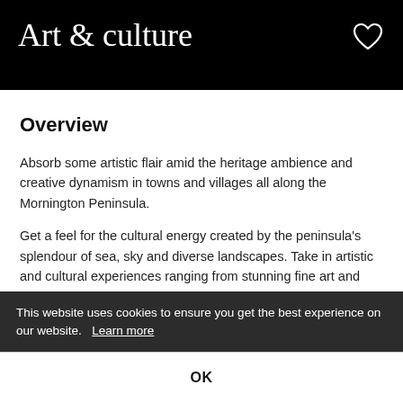Art & culture
Overview
Absorb some artistic flair amid the heritage ambience and creative dynamism in towns and villages all along the Mornington Peninsula.
Get a feel for the cultural energy created by the peninsula's splendour of sea, sky and diverse landscapes. Take in artistic and cultural experiences ranging from stunning fine art and heritage preservations to engaging community events celebrating an
This website uses cookies to ensure you get the best experience on our website.  Learn more
OK